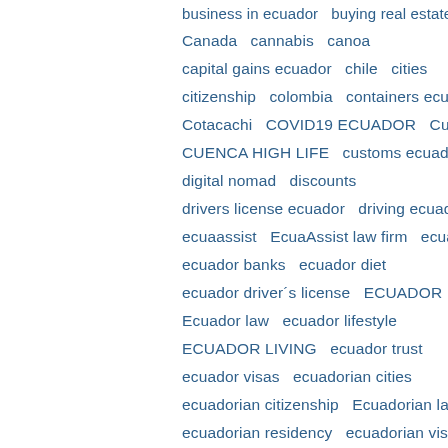business in ecuador   buying real estate
Canada   cannabis   canoa
capital gains ecuador   chile   cities
citizenship   colombia   containers ecuador
Cotacachi   COVID19 ECUADOR   Cuenca
CUENCA HIGH LIFE   customs ecuador   diet
digital nomad   discounts
drivers license ecuador   driving ecuador
ecuaassist   EcuaAssist law firm   ecuador
ecuador banks   ecuador diet
ecuador driver´s license   ECUADOR EXPATS
Ecuador law   ecuador lifestyle
ECUADOR LIVING   ecuador trust
ecuador visas   ecuadorian cities
ecuadorian citizenship   Ecuadorian law
ecuadorian residency   ecuadorian visa